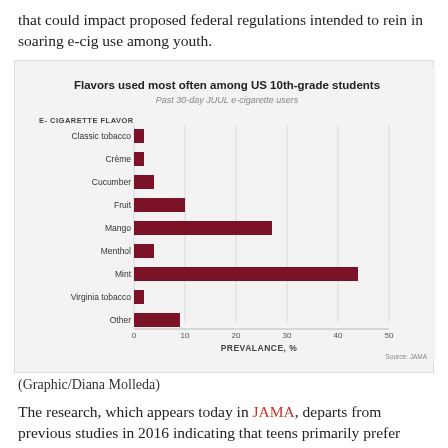that could impact proposed federal regulations intended to rein in soaring e-cig use among youth.
[Figure (bar-chart): Flavors used most often among US 10th-grade students]
(Graphic/Diana Molleda)
The research, which appears today in JAMA, departs from previous studies in 2016 indicating that teens primarily prefer fruit or candy flavors. This new study shows that while fruity